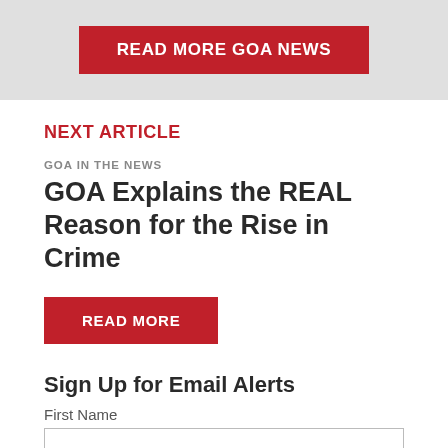READ MORE GOA NEWS
NEXT ARTICLE
GOA IN THE NEWS
GOA Explains the REAL Reason for the Rise in Crime
READ MORE
Sign Up for Email Alerts
First Name